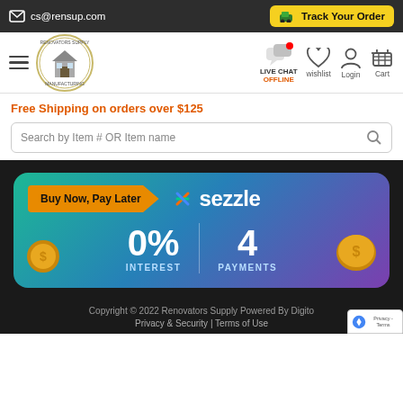cs@rensup.com  |  Track Your Order
[Figure (screenshot): Renovators Supply Manufacturing logo - circular badge with house illustration]
[Figure (infographic): Navigation bar with hamburger menu, logo, live chat offline, wishlist, login, cart icons]
Free Shipping on orders over $125
[Figure (infographic): Search bar with placeholder text: Search by Item # OR Item name]
[Figure (infographic): Sezzle Buy Now Pay Later banner: 0% Interest, 4 Payments, with coin decorations]
Copyright © 2022 Renovators Supply Powered By Digito  Privacy & Security | Terms of Use